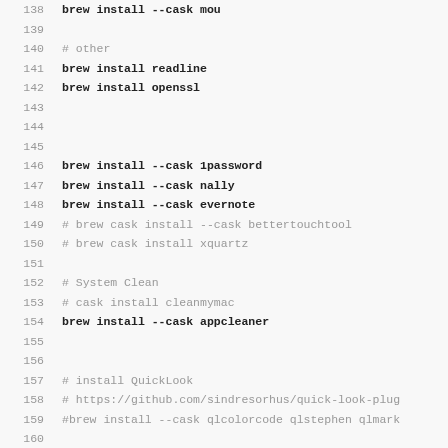138  brew install --cask mou
139
140  # other
141  brew install readline
142  brew install openssl
143
144
145
146  brew install --cask 1password
147  brew install --cask nally
148  brew install --cask evernote
149  # brew cask install --cask bettertouchtool
150  # brew cask install xquartz
151
152  # System Clean
153  # cask install cleanmymac
154  brew install --cask appcleaner
155
156
157  # install QuickLook
158  # https://github.com/sindresorhus/quick-look-plug
159  #brew install --cask qlcolorcode qlstephen qlmark
160